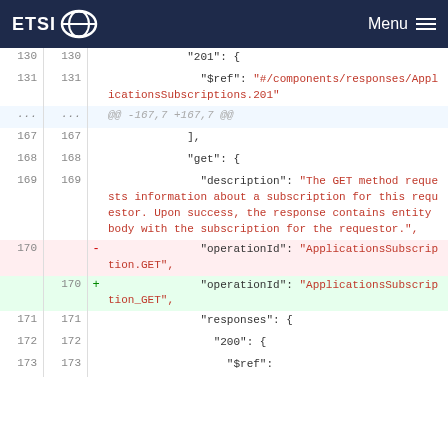ETSI Menu
[Figure (screenshot): Git diff view showing code changes in a YAML/JSON API specification file. Lines 130-173 are shown, with line 170 changed from 'ApplicationsSubscription.GET' to 'ApplicationsSubscription_GET'.]